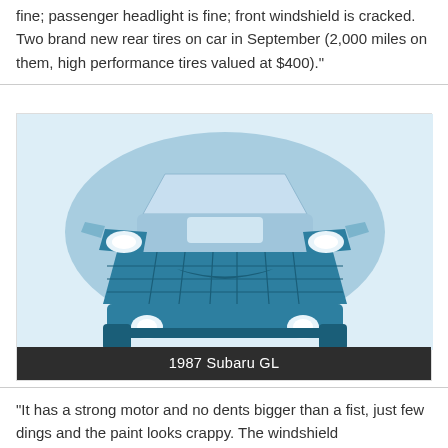fine; passenger headlight is fine; front windshield is cracked. Two brand new rear tires on car in September (2,000 miles on them, high performance tires valued at $400)."
[Figure (illustration): Front-facing flat illustration of a blue/teal muscle car (Camaro style) with headlights, grille, hood scoop, and bumper visible. Caption reads '1987 Subaru GL'.]
1987 Subaru GL
"It has a strong motor and no dents bigger than a fist, just few dings and the paint looks crappy. The windshield